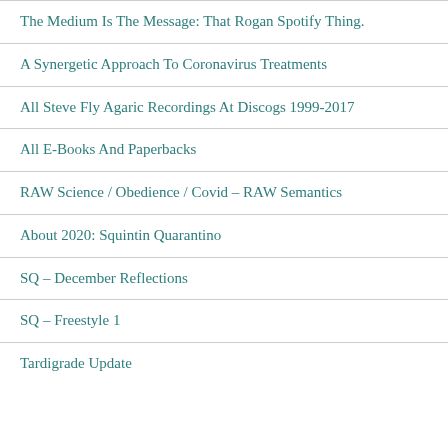The Medium Is The Message: That Rogan Spotify Thing.
A Synergetic Approach To Coronavirus Treatments
All Steve Fly Agaric Recordings At Discogs 1999-2017
All E-Books And Paperbacks
RAW Science / Obedience / Covid – RAW Semantics
About 2020: Squintin Quarantino
SQ – December Reflections
SQ – Freestyle 1
Tardigrade Update